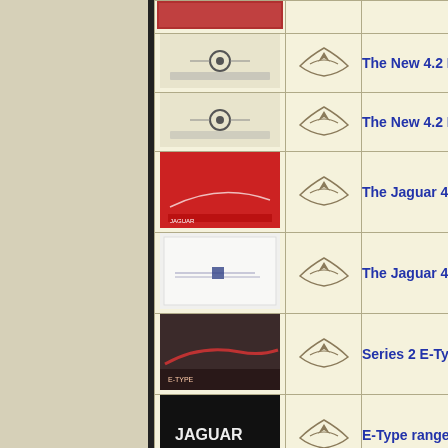| Thumbnail | Logo | Description |
| --- | --- | --- |
| [car image] | [jaguar logo] | The New 4.2 Litre Jaguar E-Type 2+2 10pp |
| [car image] | [jaguar logo] | The New 4.2 Litre Jaguar E-Type 2+2 10pp (d |
| [red cover] | [jaguar logo] | The Jaguar 4.2 Litre E-Type 4pp skirted (red c |
| [white cover] | [jaguar logo] | The Jaguar 4.2 Litre E-Type 4pp skirted (white |
| [car photo] | [jaguar logo] | Series 2 E-Type full brochure 8pp |
| [jaguar text] | [jaguar logo] | E-Type range for 1969 12pp US |
| [car photo] | [jaguar logo] | Jaguar XJ6 Folded leaflet |
| [red xj6] | [jaguar logo] | To concide with the launch of the XJ6 in 1968... these sheets so that you could make your own |
| [dark cover] | [jaguar logo] | 420G full brochure 12pp |